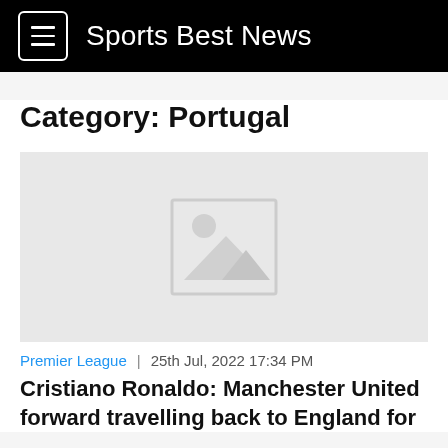Sports Best News
Category: Portugal
[Figure (photo): Placeholder image with mountain and sun icon on light gray background]
Premier League  |  25th Jul, 2022 17:34 PM
Cristiano Ronaldo: Manchester United forward travelling back to England for